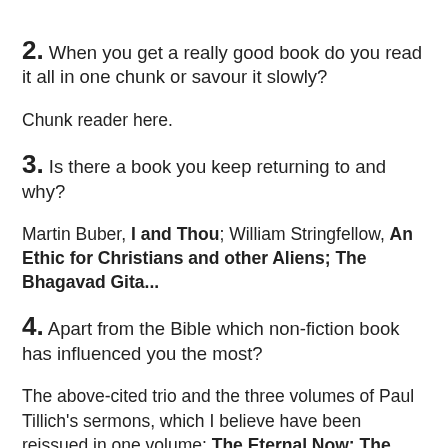2. When you get a really good book do you read it all in one chunk or savour it slowly?
Chunk reader here.
3. Is there a book you keep returning to and why?
Martin Buber, I and Thou; William Stringfellow, An Ethic for Christians and other Aliens; The Bhagavad Gita...
4. Apart from the Bible which non-fiction book has influenced you the most?
The above-cited trio and the three volumes of Paul Tillich's sermons, which I believe have been reissued in one volume: The Eternal Now; The Shaking of the Foundations; The New Being
5. Describe a perfect place to read. ( could be anywhere!!!)